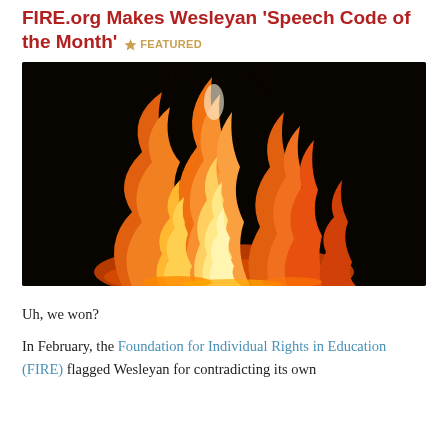FIRE.org Makes Wesleyan 'Speech Code of the Month'  ★ FEATURED
[Figure (photo): A large flame against a black background, orange and yellow fire filling the frame.]
Uh, we won?
In February, the Foundation for Individual Rights in Education (FIRE) flagged Wesleyan for contradicting its own